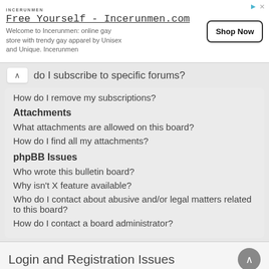[Figure (screenshot): Advertisement banner for Incerunmen.com - Free Yourself promotional ad with Shop Now button]
do I subscribe to specific forums?
How do I remove my subscriptions?
Attachments
What attachments are allowed on this board?
How do I find all my attachments?
phpBB Issues
Who wrote this bulletin board?
Why isn't X feature available?
Who do I contact about abusive and/or legal matters related to this board?
How do I contact a board administrator?
Login and Registration Issues